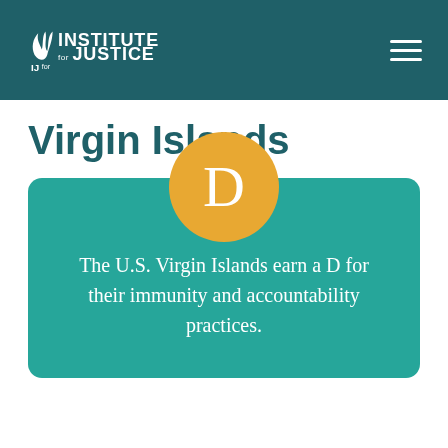Institute for Justice
Virgin Islands
[Figure (infographic): A golden/yellow circle with the letter D in white, overlapping the top of a teal rounded rectangle card. The card contains text about the U.S. Virgin Islands earning a D grade.]
The U.S. Virgin Islands earn a D for their immunity and accountability practices.